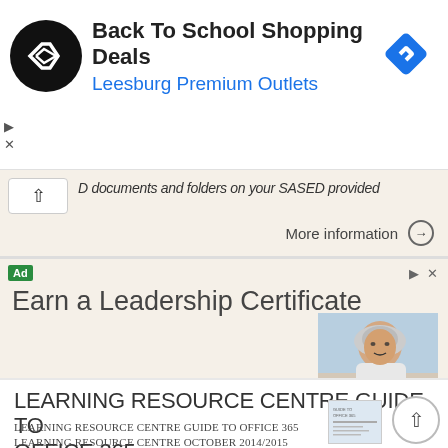[Figure (screenshot): Advertisement banner: Back To School Shopping Deals at Leesburg Premium Outlets, with circular logo and blue diamond icon]
D documents and folders on your SASED provided
More information →
[Figure (screenshot): Advertisement: Earn a Leadership Certificate - wrightgrad.edu, with photo of smiling older woman]
LEARNING RESOURCE CENTRE GUIDE TO OFFICE 365
LEARNING RESOURCE CENTRE GUIDE TO OFFICE 365 LEARNING RESOURCE CENTRE OCTOBER 2014/2015 Table of Contents Explanation of One Drive and Microsoft